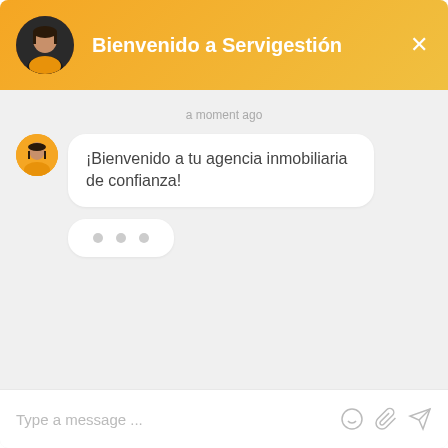[Figure (screenshot): Chat interface header with orange-yellow gradient background, agent avatar photo, title 'Bienvenido a Servigestión', and close (X) button]
a moment ago
¡Bienvenido a tu agencia inmobiliaria de confianza!
[Figure (illustration): Typing indicator bubble with three grey dots]
Type a message ...